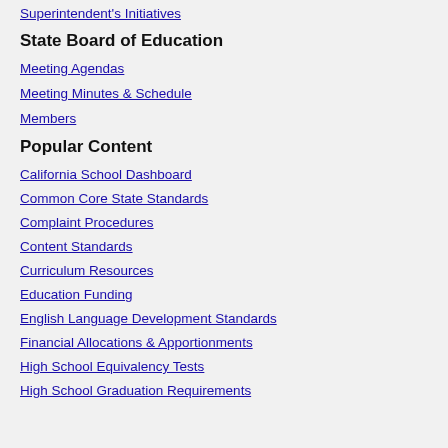Newsroom
Superintendent's Initiatives
State Board of Education
Meeting Agendas
Meeting Minutes & Schedule
Members
Popular Content
California School Dashboard
Common Core State Standards
Complaint Procedures
Content Standards
Curriculum Resources
Education Funding
English Language Development Standards
Financial Allocations & Apportionments
High School Equivalency Tests
High School Graduation Requirements